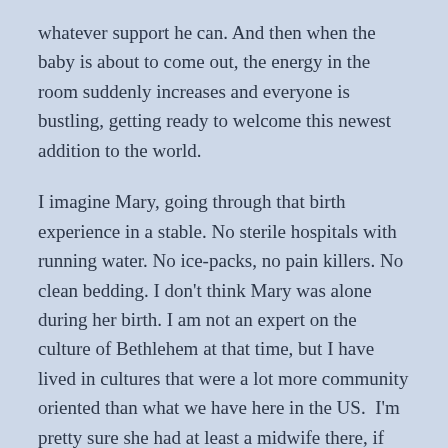whatever support he can. And then when the baby is about to come out, the energy in the room suddenly increases and everyone is bustling, getting ready to welcome this newest addition to the world.

I imagine Mary, going through that birth experience in a stable. No sterile hospitals with running water. No ice-packs, no pain killers. No clean bedding. I don't think Mary was alone during her birth. I am not an expert on the culture of Bethlehem at that time, but I have lived in cultures that were a lot more community oriented than what we have here in the US.  I'm pretty sure she had at least a midwife there, if not several other women who showed up just to help. And we all know that where two or more women are gathered there will be conversation.